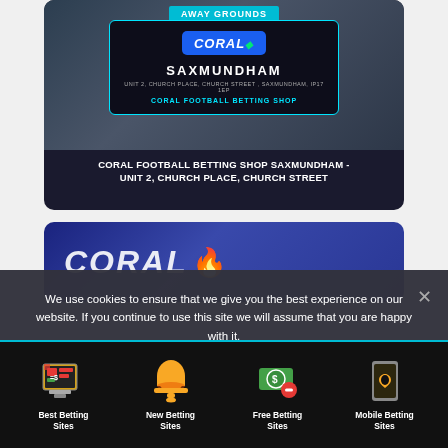[Figure (screenshot): Coral betting shop card with logo, city name SAXMUNDHAM, address UNIT 2, CHURCH PLACE, CHURCH STREET, SAXMUNDHAM, IP17 1EP, and label CORAL FOOTBALL BETTING SHOP on dark background with cyan border]
CORAL FOOTBALL BETTING SHOP SAXMUNDHAM - UNIT 2, CHURCH PLACE, CHURCH STREET
[Figure (photo): Coral betting shop exterior sign showing CORAL logo in blue and white with flame graphic]
We use cookies to ensure that we give you the best experience on our website. If you continue to use this site we will assume that you are happy with it.
[Figure (infographic): Footer navigation with four icons: Best Betting Sites (monitor with betting slip), New Betting Sites (bell), Free Betting Sites (money with minus), Mobile Betting Sites (phone with spade)]